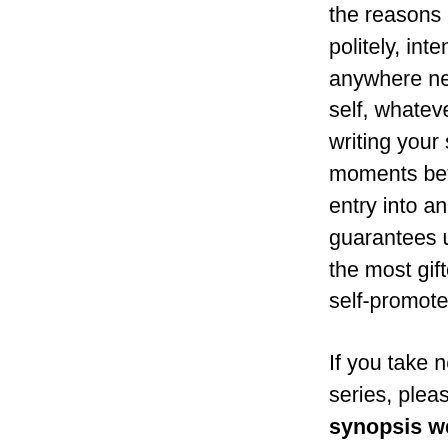the reasons I have just given are, to put it politely, intended to help lesser mortals not anywhere near as talented than your good self, whatever you do, try not to save writing your synopsis for the very last moments before you stuff a submission or entry into an envelope. That route virtually guarantees uncaught mistakes, even for the most gifted of writers and savviest of self-promoters.
If you take nothing else away from this series, please remember this: writing a synopsis well is hard, even for the most seasoned of pros; be sure to budget adequate time for it.